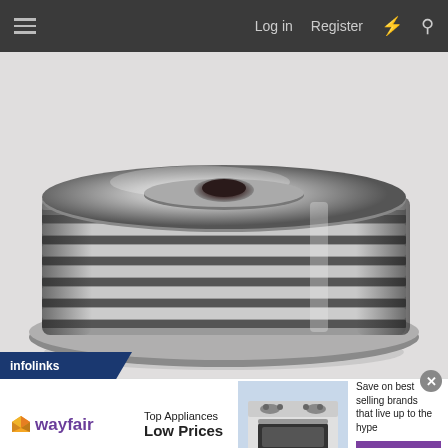Log in   Register
[Figure (photo): A chrome/polished metal pulley or spool with ribbed grooves around its cylindrical body, viewed from above at a slight angle. The object sits on a white surface and has a concentric circular top with a central hole.]
infolinks
[Figure (screenshot): Wayfair advertisement banner. Shows Wayfair logo with purple diamond icon on left, 'Top Appliances Low Prices' text in center-left, image of a stainless steel range/oven in center, and 'Save on best selling brands that live up to the hype' with purple 'Shop now' button on right. Close X button in top-right corner.]